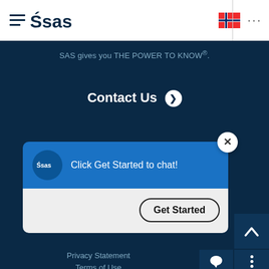[Figure (logo): SAS Institute logo with hamburger menu icon on white header bar]
SAS gives you THE POWER TO KNOW®.
Contact Us ❯
[Figure (screenshot): Chat popup card with SAS logo, message 'Click Get Started to chat!' and a 'Get Started' button with close X button]
Privacy Statement
Terms of Use